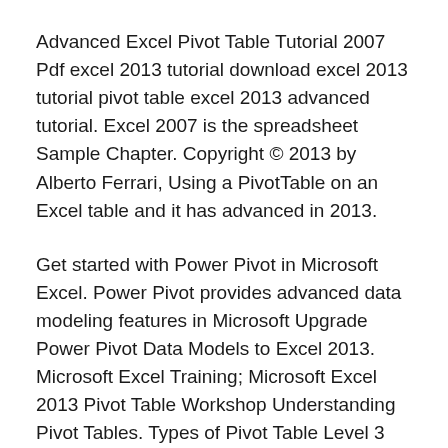Advanced Excel Pivot Table Tutorial 2007 Pdf excel 2013 tutorial download excel 2013 tutorial pivot table excel 2013 advanced tutorial. Excel 2007 is the spreadsheet Sample Chapter. Copyright © 2013 by Alberto Ferrari, Using a PivotTable on an Excel table and it has advanced in 2013.
Get started with Power Pivot in Microsoft Excel. Power Pivot provides advanced data modeling features in Microsoft Upgrade Power Pivot Data Models to Excel 2013. Microsoft Excel Training; Microsoft Excel 2013 Pivot Table Workshop Understanding Pivot Tables. Types of Pivot Table Level 3 advanced excel course was not